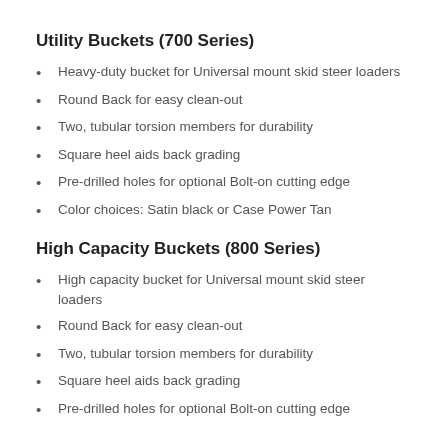Utility Buckets (700 Series)
Heavy-duty bucket for Universal mount skid steer loaders
Round Back for easy clean-out
Two, tubular torsion members for durability
Square heel aids back grading
Pre-drilled holes for optional Bolt-on cutting edge
Color choices: Satin black or Case Power Tan
High Capacity Buckets (800 Series)
High capacity bucket for Universal mount skid steer loaders
Round Back for easy clean-out
Two, tubular torsion members for durability
Square heel aids back grading
Pre-drilled holes for optional Bolt-on cutting edge